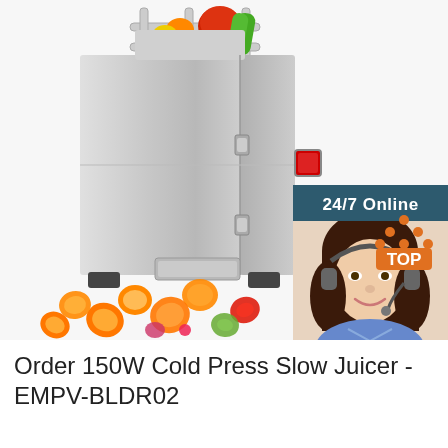[Figure (photo): Commercial 150W Cold Press Slow Juicer / vegetable slicer machine (EMPV-BLDR02) in stainless steel, shown with sliced vegetables scattered at the bottom. Overlaid with a 24/7 online customer service chat widget showing a female agent with headset, a 'Click here for free chat!' prompt and an orange QUOTATION button. A red TOP logo icon is in the lower right of the image.]
Order 150W Cold Press Slow Juicer - EMPV-BLDR02